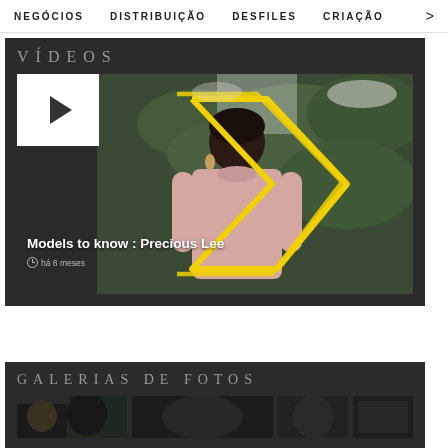NEGÓCIOS   DISTRIBUIÇÃO   DESFILES   CRIAÇÃO   >
VÍDEOS
[Figure (screenshot): Video thumbnail showing a woman in a pink coat with a yellow outlined silhouette shape on a dark background. A white play button box is in the top left corner.]
Models to know : Precious Lee
há 8 meses
GALERIAS DE FOTOS
[Figure (photo): Small gallery thumbnail images at the bottom of the page]